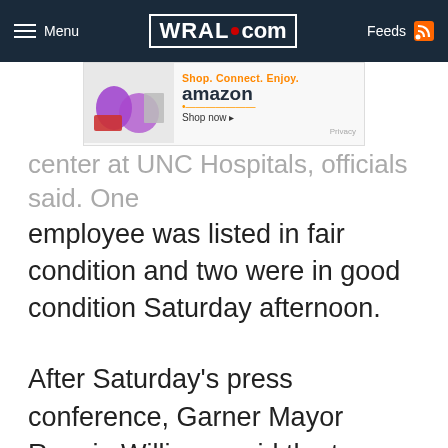WRAL.com — Menu | Feeds
[Figure (other): Amazon advertisement banner: Shop. Connect. Enjoy. amazon Shop now ▸ Privacy]
center at UNC Hospitals, officials said. One employee was listed in fair condition and two were in good condition Saturday afternoon.
After Saturday's press conference, Garner Mayor Ronnie Williams said the town will work with ConAgra to help rebuild the plant.
“I think the tax-based incentives are all on